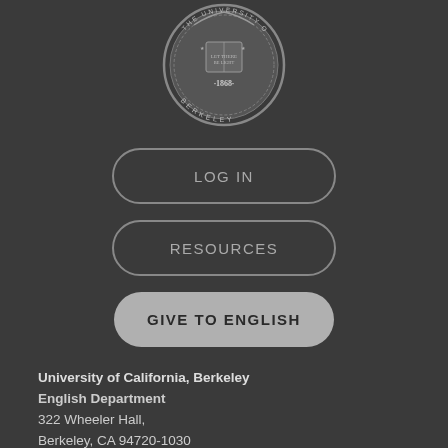[Figure (logo): University of California Berkeley circular seal/logo, gray and white, showing '1868' and 'BERKELEY' text]
LOG IN
RESOURCES
GIVE TO ENGLISH
University of California, Berkeley
English Department
322 Wheeler Hall,
Berkeley, CA 94720-1030
general phone: 510-642-3467